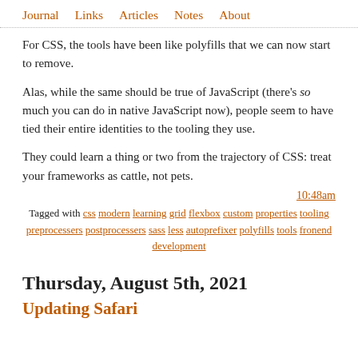Journal  Links  Articles  Notes  About
For CSS, the tools have been like polyfills that we can now start to remove.
Alas, while the same should be true of JavaScript (there's so much you can do in native JavaScript now), people seem to have tied their entire identities to the tooling they use.
They could learn a thing or two from the trajectory of CSS: treat your frameworks as cattle, not pets.
10:48am
Tagged with css modern learning grid flexbox custom properties tooling preprocessers postprocessers sass less autoprefixer polyfills tools fronend development
Thursday, August 5th, 2021
Updating Safari